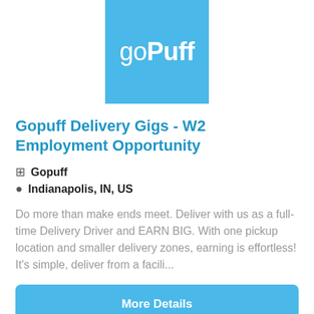[Figure (logo): goPuff logo — white text on light blue square background]
Gopuff Delivery Gigs - W2 Employment Opportunity
🏢 Gopuff
📍 Indianapolis, IN, US
Do more than make ends meet. Deliver with us as a full-time Delivery Driver and EARN BIG. With one pickup location and smaller delivery zones, earning is effortless! It's simple, deliver from a facili...
More Details
[Figure (logo): Second card with NEW badge and partial logo visible at bottom]